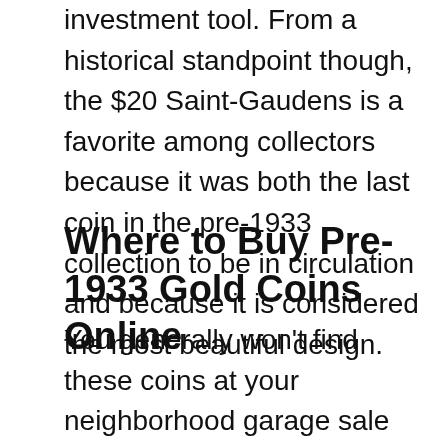investment tool. From a historical standpoint though, the $20 Saint-Gaudens is a favorite among collectors because it was both the last coin in the pre-1933 collection to be in circulation and because it is considered the most beautiful design.
Where to Buy Pre-1933 Gold Coins Online
You generally won't find these coins at your neighborhood garage sale or flea market. The best place to shop is online via gold bullion and rare coin dealers. Companies like Golden Eagle Coins, who is a top U.S. gold coin dealer, has limited stockpiles of these rare coins, and